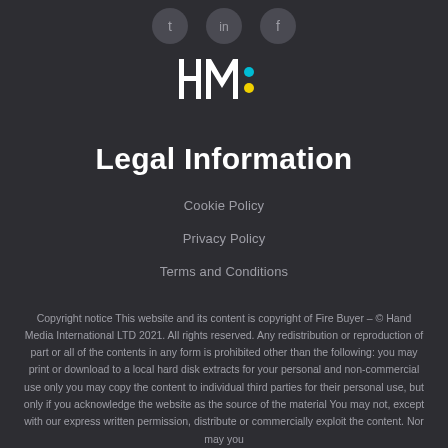[Figure (logo): Three social media icons (Twitter, LinkedIn, Facebook) in circular grey buttons at top]
[Figure (logo): HM: logo with cyan and yellow dots on dark background]
Legal Information
Cookie Policy
Privacy Policy
Terms and Conditions
Copyright notice This website and its content is copyright of Fire Buyer – © Hand Media International LTD 2021. All rights reserved. Any redistribution or reproduction of part or all of the contents in any form is prohibited other than the following: you may print or download to a local hard disk extracts for your personal and non-commercial use only you may copy the content to individual third parties for their personal use, but only if you acknowledge the website as the source of the material You may not, except with our express written permission, distribute or commercially exploit the content. Nor may you